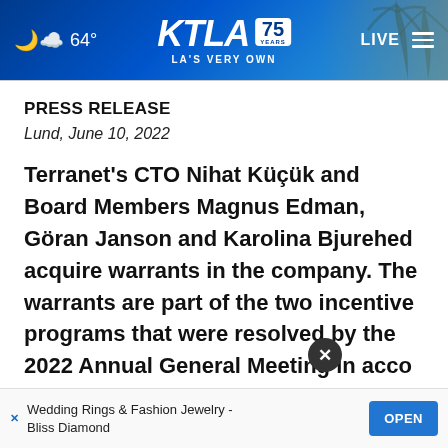64° KTLA 75 YEARS LA'S VERY OWN LIVE
PRESS RELEASE
Lund, June 10, 2022
Terranet's CTO Nihat Küçük and Board Members Magnus Edman, Göran Janson and Karolina Bjurehed acquire warrants in the company. The warrants are part of the two incentive programs that were resolved by the 2022 Annual General Meeting in accordance with
[Figure (screenshot): Advertisement banner: Wedding Rings & Fashion Jewelry - Bliss Diamond with OPEN button]